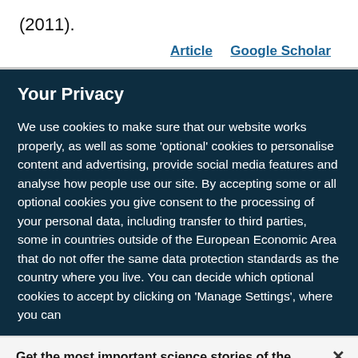(2011).
Article   Google Scholar
Your Privacy
We use cookies to make sure that our website works properly, as well as some ‘optional’ cookies to personalise content and advertising, provide social media features and analyse how people use our site. By accepting some or all optional cookies you give consent to the processing of your personal data, including transfer to third parties, some in countries outside of the European Economic Area that do not offer the same data protection standards as the country where you live. You can decide which optional cookies to accept by clicking on ‘Manage Settings’, where you can
Get the most important science stories of the day, free in your inbox.
Sign up for Nature Briefing